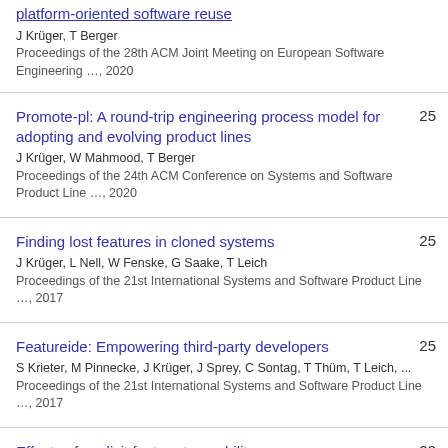platform-oriented software reuse
J Krüger, T Berger
Proceedings of the 28th ACM Joint Meeting on European Software Engineering …, 2020
Promote-pl: A round-trip engineering process model for adopting and evolving product lines
J Krüger, W Mahmood, T Berger
Proceedings of the 24th ACM Conference on Systems and Software Product Line …, 2020
25
Finding lost features in cloned systems
J Krüger, L Nell, W Fenske, G Saake, T Leich
Proceedings of the 21st International Systems and Software Product Line …, 2017
25
Featureide: Empowering third-party developers
S Krieter, M Pinnecke, J Krüger, J Sprey, C Sontag, T Thüm, T Leich, ...
Proceedings of the 21st International Systems and Software Product Line …, 2017
25
Effects of explicit feature traceability on program comprehension
J Krüger, G Çalıklı, T Berger, T Leich, G Saake
23